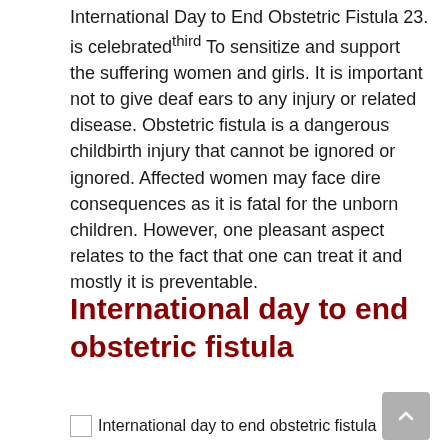International Day to End Obstetric Fistula 23. is celebrated^third To sensitize and support the suffering women and girls. It is important not to give deaf ears to any injury or related disease. Obstetric fistula is a dangerous childbirth injury that cannot be ignored or ignored. Affected women may face dire consequences as it is fatal for the unborn children. However, one pleasant aspect relates to the fact that one can treat it and mostly it is preventable.
International day to end obstetric fistula
[Figure (photo): Broken image placeholder for 'International day to end obstetric fistula']